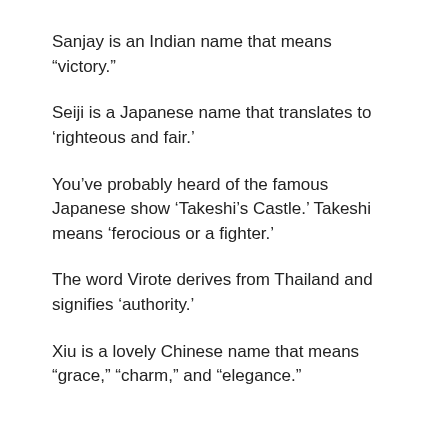Sanjay is an Indian name that means “victory.”
Seiji is a Japanese name that translates to ‘righteous and fair.’
You’ve probably heard of the famous Japanese show ‘Takeshi’s Castle.’ Takeshi means ‘ferocious or a fighter.’
The word Virote derives from Thailand and signifies ‘authority.’
Xiu is a lovely Chinese name that means “grace,” “charm,” and “elegance.”